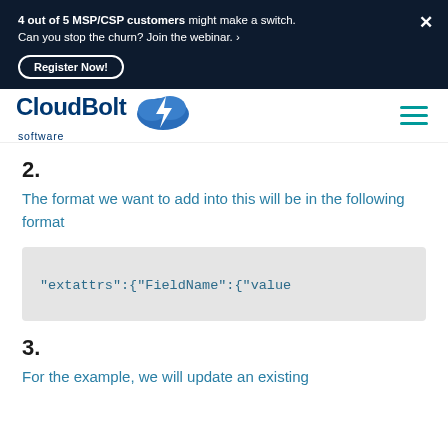4 out of 5 MSP/CSP customers might make a switch. Can you stop the churn? Join the webinar. › Register Now!
[Figure (logo): CloudBolt software logo with blue cloud and lightning bolt icon]
2.
The format we want to add into this will be in the following format
"extattrs":{"FieldName":{"value
3.
For the example, we will update an existing